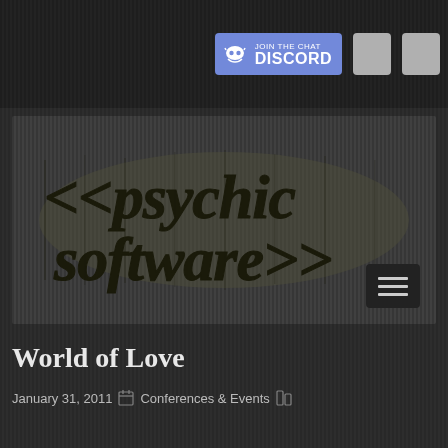[Figure (logo): Discord 'Join the Chat' button with Discord logo and two gray placeholder boxes]
[Figure (logo): <<psychic software>> logo in distressed/horror style black text on dark gray background with hamburger menu button]
World of Love
January 31, 2011  Conferences & Events